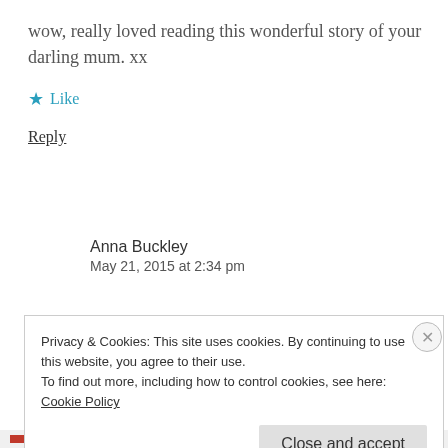wow, really loved reading this wonderful story of your darling mum. xx
★ Like
Reply
Anna Buckley
May 21, 2015 at 2:34 pm
Privacy & Cookies: This site uses cookies. By continuing to use this website, you agree to their use.
To find out more, including how to control cookies, see here: Cookie Policy
Close and accept